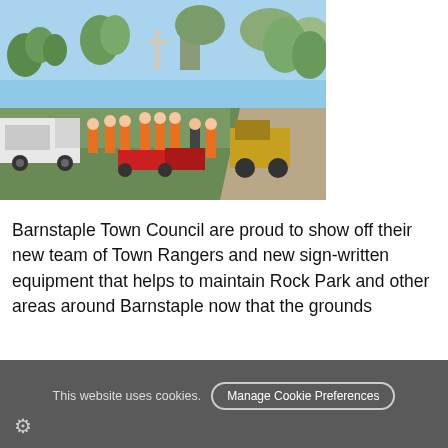[Figure (photo): Barnstaple Town Council Town Rangers team standing in a park (Rock Park) with orange high-visibility jackets, alongside vehicles and mowing equipment. A war memorial cross is visible in the background among trees on a sunny day.]
Barnstaple Town Council are proud to show off their new team of Town Rangers and new sign-written equipment that helps to maintain Rock Park and other areas around Barnstaple now that the grounds
This website uses cookies.  Manage Cookie Preferences